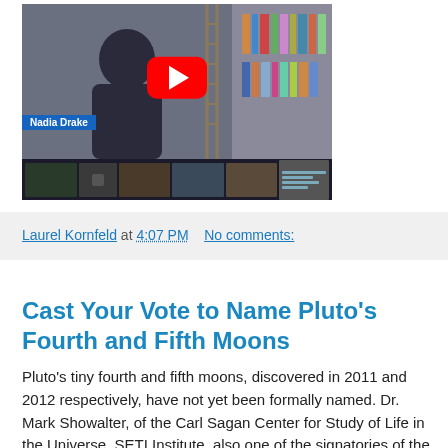[Figure (screenshot): YouTube video thumbnail showing a video panel with Nadia Drake name bar and a thumbnail strip below, featuring a red YouTube play button overlay on a bookshelf background with a person's silhouette.]
Laurel Kornfeld at 4:07 PM   No comments:
Cast Your Vote to Name Pluto's Fourth and Fifth Moons
Pluto's tiny fourth and fifth moons, discovered in 2011 and 2012 respectively, have not yet been formally named. Dr. Mark Showalter, of the Carl Sagan Center for Study of Life in the Universe, SETI Institute, also one of the signatories of the petition rejecting the IAU "reclassification" of Pluto, is organizing an online initiative seeking your voices in